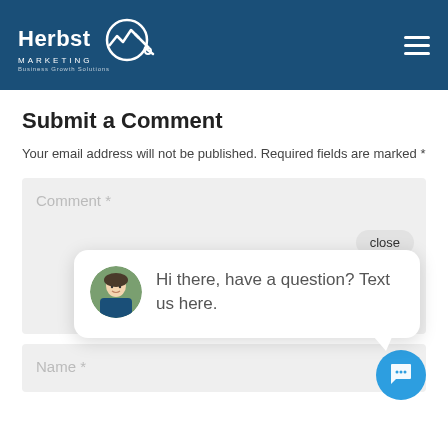[Figure (logo): Herbst Marketing Business Growth Solutions logo on navy blue header with hamburger menu icon]
Submit a Comment
Your email address will not be published. Required fields are marked *
[Figure (screenshot): Comment text area input field with placeholder text 'Comment *', a close button, and a chat popup bubble showing a woman avatar with text 'Hi there, have a question? Text us here.' plus a blue chat circle button]
[Figure (screenshot): Name input field with placeholder text 'Name *']